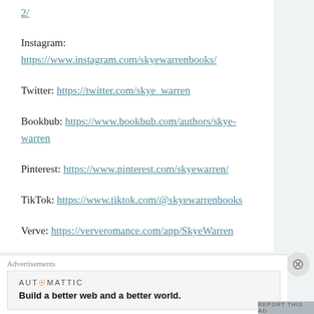2/
Instagram: https://www.instagram.com/skyewarrenbooks/
Twitter: https://twitter.com/skye_warren
Bookbub: https://www.bookbub.com/authors/skye-warren
Pinterest: https://www.pinterest.com/skyewarren/
TikTok: https://www.tiktok.com/@skyewarrenbooks
Verve: https://ververomance.com/app/SkyeWarren
Advertisements
AUTOMATTIC
Build a better web and a better world.